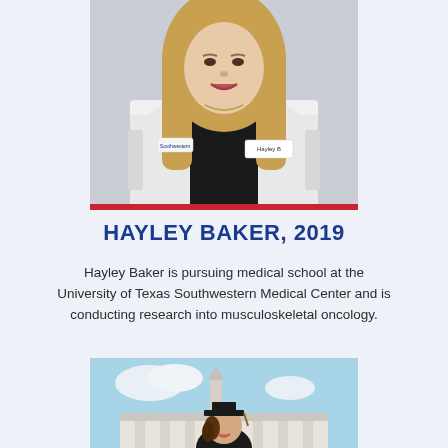[Figure (photo): Headshot of Hayley Baker wearing a white medical coat with a name tag, smiling, with long blonde hair, standing in front of a flag with a red bottom border accent]
HAYLEY BAKER, 2019
Hayley Baker is pursuing medical school at the University of Texas Southwestern Medical Center and is conducting research into musculoskeletal oncology.
[Figure (photo): Person wearing graduation cap and gown, smiling, standing outdoors in front of a white classical building with blue sky]